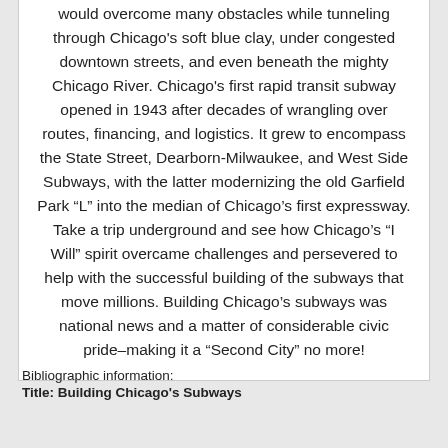would overcome many obstacles while tunneling through Chicago's soft blue clay, under congested downtown streets, and even beneath the mighty Chicago River. Chicago's first rapid transit subway opened in 1943 after decades of wrangling over routes, financing, and logistics. It grew to encompass the State Street, Dearborn-Milwaukee, and West Side Subways, with the latter modernizing the old Garfield Park “L” into the median of Chicago’s first expressway. Take a trip underground and see how Chicago’s “I Will” spirit overcame challenges and persevered to help with the successful building of the subways that move millions. Building Chicago’s subways was national news and a matter of considerable civic pride–making it a “Second City” no more!
Bibliographic information:
Title: Building Chicago's Subways